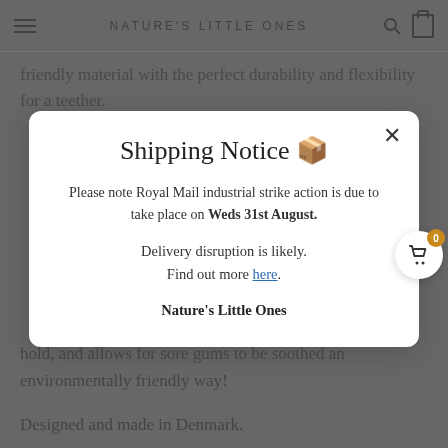NATURE'S LITTLE ONES
friendly material with the perfect durability and flexibility for a teether.
Shipping Notice 🚚
Please note Royal Mail industrial strike action is due to take place on Weds 31st August.
Delivery disruption is likely. Find out more here.
Nature's Little Ones
hold, and allows for sore gums to be soothed an environmentally friendly way!
Designed and made in Denmark.